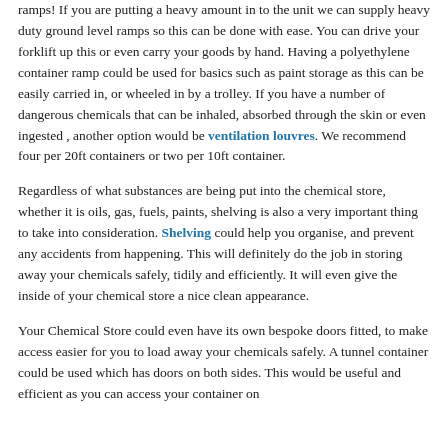ramps! If you are putting a heavy amount in to the unit we can supply heavy duty ground level ramps so this can be done with ease. You can drive your forklift up this or even carry your goods by hand. Having a polyethylene container ramp could be used for basics such as paint storage as this can be easily carried in, or wheeled in by a trolley.  If you have a number of dangerous chemicals that can be inhaled, absorbed through the skin or even ingested , another option would be ventilation louvres. We recommend four per 20ft containers or two per 10ft container.
Regardless of what substances are being put into the chemical store, whether it is oils, gas, fuels, paints,  shelving is also a very important thing to take into consideration. Shelving could help you organise, and prevent any accidents from happening. This will definitely do the job in storing away your chemicals safely, tidily and efficiently.  It will even give the inside of your chemical store a nice clean appearance.
Your Chemical Store could even have its own bespoke doors fitted, to make access easier for you to load away your chemicals safely. A tunnel container could be used which has doors on both sides. This would be useful and efficient as you can access your container on